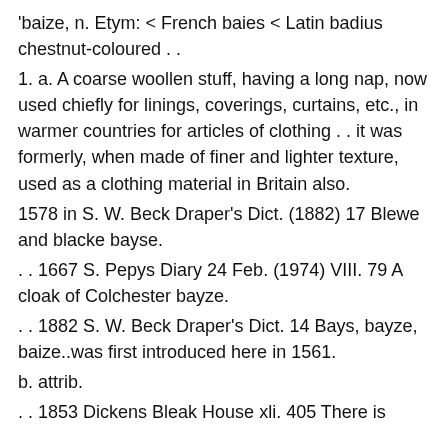'baize, n. Etym: < French baies < Latin badius chestnut-coloured . .
1. a. A coarse woollen stuff, having a long nap, now used chiefly for linings, coverings, curtains, etc., in warmer countries for articles of clothing . . it was formerly, when made of finer and lighter texture, used as a clothing material in Britain also.
1578 in S. W. Beck Draper's Dict. (1882) 17 Blewe and blacke bayse.
. . 1667 S. Pepys Diary 24 Feb. (1974) VIII. 79 A cloak of Colchester bayze.
. . 1882 S. W. Beck Draper's Dict. 14 Bays, bayze, baize..was first introduced here in 1561.
b. attrib.
. . 1853 Dickens Bleak House xli. 405 There is